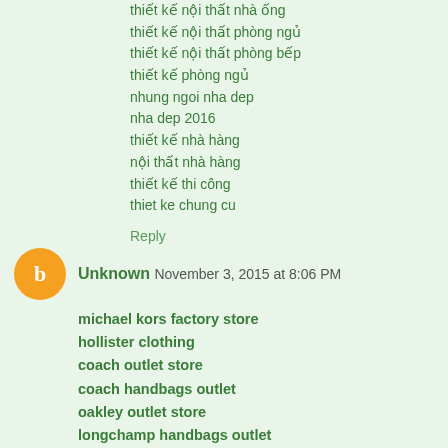thiết kế nội thất nhà ống
thiết kế nội thất phòng ngủ
thiết kế nội thất phòng bếp
thiết kế phòng ngủ
nhung ngoi nha dep
nha dep 2016
thiết kế nhà hàng
nội thất nhà hàng
thiết kế thi công
thiet ke chung cu
Reply
Unknown  November 3, 2015 at 8:06 PM
michael kors factory store
hollister clothing
coach outlet store
coach handbags outlet
oakley outlet store
longchamp handbags outlet
swarovski crystal
dallas cowboys